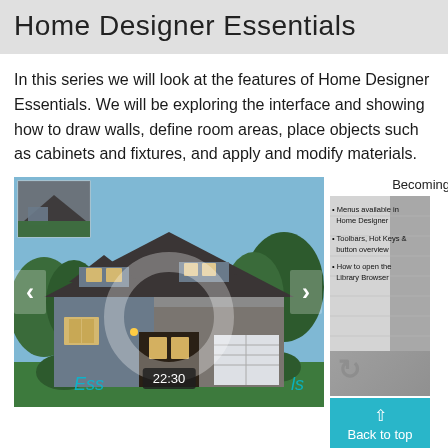Home Designer Essentials
In this series we will look at the features of Home Designer Essentials. We will be exploring the interface and showing how to draw walls, define room areas, place objects such as cabinets and fixtures, and apply and modify materials.
[Figure (screenshot): Carousel showing 'Home Designer Essentials Overview' video thumbnail — a craftsman-style house exterior with navigation arrows, a 22:30 timestamp overlay, and a partially visible next slide labeled 'Becoming' with bullet points about menus, toolbars, and Library Browser. A Back to top button overlays the right panel.]
Home Designer Essentials Overview
B... i